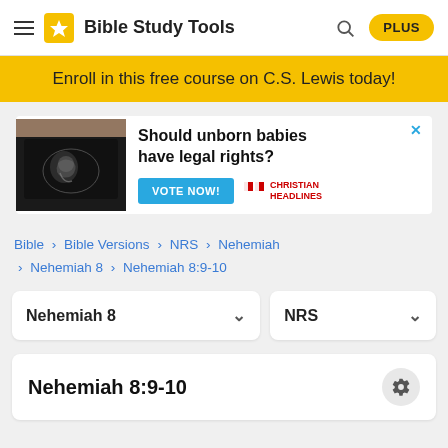Bible Study Tools PLUS
Enroll in this free course on C.S. Lewis today!
[Figure (infographic): Advertisement banner: ultrasound image on left, text 'Should unborn babies have legal rights?' with 'VOTE NOW!' button and Christian Headlines logo on right, with X close button]
Bible > Bible Versions > NRS > Nehemiah > Nehemiah 8 > Nehemiah 8:9-10
Nehemiah 8 ∨  NRS ∨
Nehemiah 8:9-10